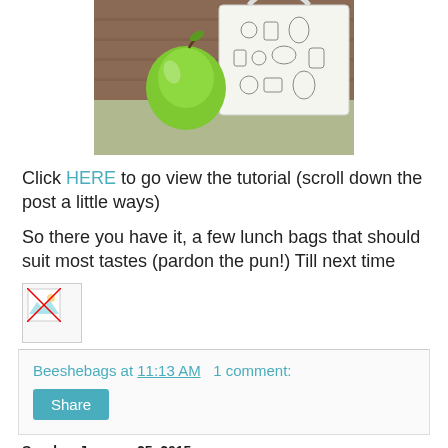[Figure (photo): A green apple sitting in front of a white tote bag with black line drawings of food items, on a counter with a brick wall background]
Click HERE to go view the tutorial (scroll down the post a little ways)
So there you have it, a few lunch bags that should suit most tastes (pardon the pun!)  Till next time
[Figure (photo): Small broken image placeholder icon]
Beeshebags at 11:13 AM   1 comment:
Share
Sunday, January 25, 2015
Sharing Sunday - New Series of posts...